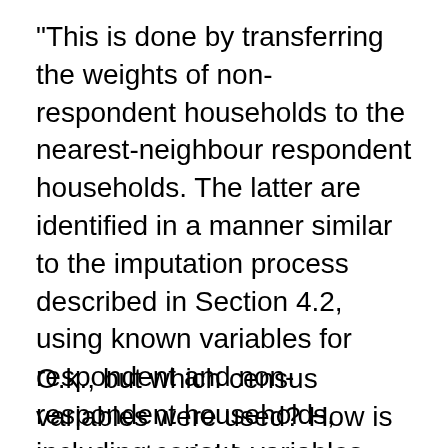"This is done by transferring the weights of non-respondent households to the nearest-neighbour respondent households. The latter are identified in a manner similar to the imputation process described in Section 4.2, using known variables for respondent and non-respondent households, including census variables and a few variables resulting from matches to administrative databases."
O.k., but which census variables were used? How is a nearest-neighbour respondent